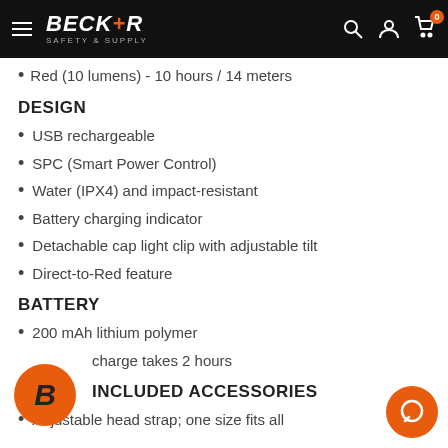Becker Safety & Supply
Red (10 lumens) - 10 hours / 14 meters
DESIGN
USB rechargeable
SPC (Smart Power Control)
Water (IPX4) and impact-resistant
Battery charging indicator
Detachable cap light clip with adjustable tilt
Direct-to-Red feature
BATTERY
200 mAh lithium polymer
charge takes 2 hours
INCLUDED ACCESSORIES
Adjustable head strap; one size fits all